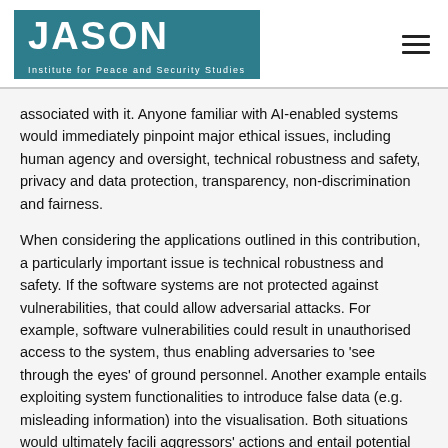[Figure (logo): JASON Institute for Peace and Security Studies logo — teal/dark-cyan background with white bold text 'JASON' and subtitle 'Institute for Peace and Security Studies']
associated with it. Anyone familiar with AI-enabled systems would immediately pinpoint major ethical issues, including human agency and oversight, technical robustness and safety, privacy and data protection, transparency, non-discrimination and fairness.
When considering the applications outlined in this contribution, a particularly important issue is technical robustness and safety. If the software systems are not protected against vulnerabilities, that could allow adversarial attacks. For example, software vulnerabilities could result in unauthorised access to the system, thus enabling adversaries to 'see through the eyes' of ground personnel. Another example entails exploiting system functionalities to introduce false data (e.g. misleading information) into the visualisation. Both situations would ultimately facili aggressors' actions and entail potential avenues for safety This explains the importance of having AR with an augmen focus on law and ethics and risk analysis from the technology